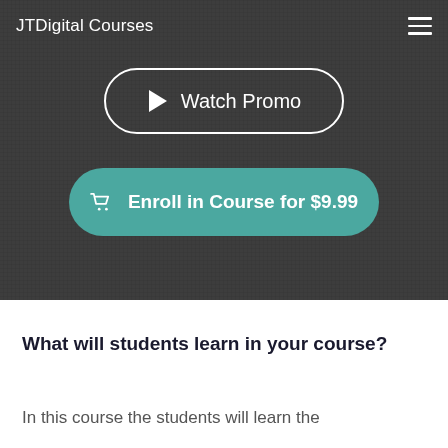JTDigital Courses
[Figure (screenshot): Watch Promo button with play icon, rounded pill outline style on dark background]
[Figure (screenshot): Enroll in Course for $9.99 button with shopping cart icon, teal rounded pill button on dark background]
What will students learn in your course?
In this course the students will learn the